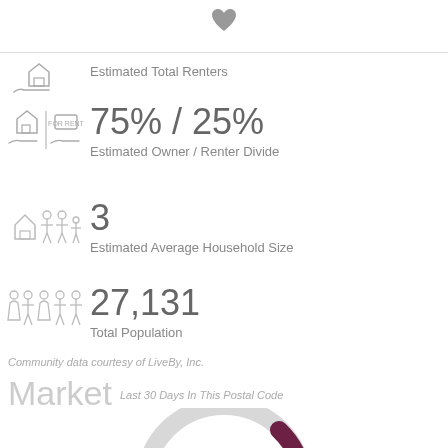[Figure (illustration): Heart icon at top center]
[Figure (illustration): House with for-rent sign icon]
Estimated Total Renters
[Figure (illustration): House with for-sale and for-rent sign icons]
75% / 25%
Estimated Owner / Renter Divide
[Figure (illustration): House with family members icon]
3
Estimated Average Household Size
[Figure (illustration): Group of people icons]
27,131
Total Population
Community data courtesy of LiveBy, Inc.
Market
Last 30 Days In This Postal Code
[Figure (donut-chart): Partial donut chart showing market data, dark purple and light gray segments]